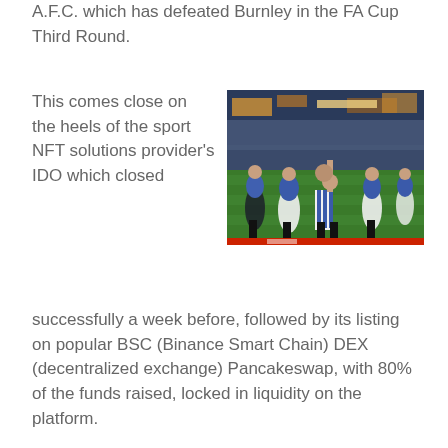A.F.C. which has defeated Burnley in the FA Cup Third Round.
This comes close on the heels of the sport NFT solutions provider's IDO which closed successfully a week before, followed by its listing on popular BSC (Binance Smart Chain) DEX (decentralized exchange) Pancakeswap, with 80% of the funds raised, locked in liquidity on the platform.
[Figure (photo): Football players in blue and white striped jerseys celebrating on a pitch, with stadium stands in the background. One player points upward with finger raised.]